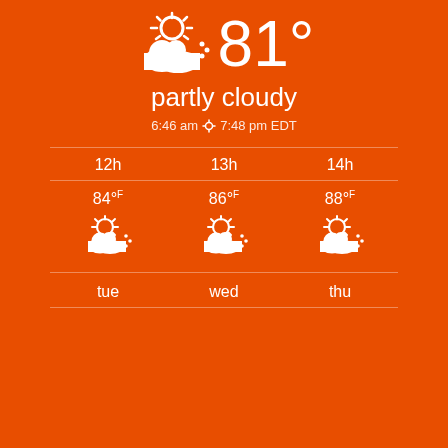[Figure (illustration): Partly cloudy weather icon (large, white) next to 81° temperature]
partly cloudy
6:46 am ☼ 7:48 pm EDT
| 12h | 13h | 14h |
| --- | --- | --- |
| 84°F ⛅ | 86°F ⛅ | 88°F ⛅ |
| tue | wed | thu |
| --- | --- | --- |